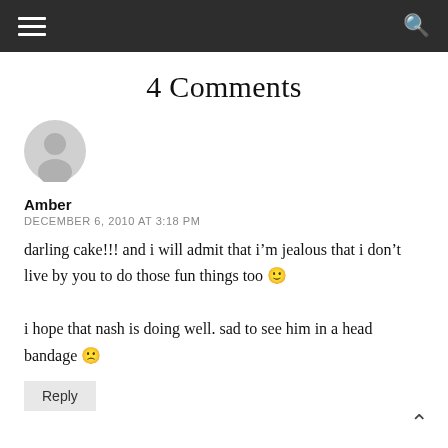Navigation bar with hamburger menu and search icon
4 Comments
[Figure (illustration): Generic grey avatar icon of a person silhouette]
Amber
DECEMBER 6, 2010 AT 3:18 PM
darling cake!!! and i will admit that i'm jealous that i don't live by you to do those fun things too 🙂 i hope that nash is doing well. sad to see him in a head bandage ☹
Reply